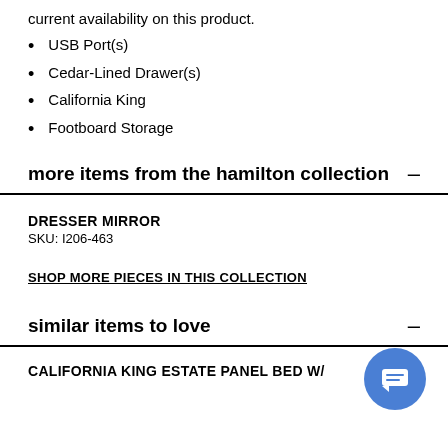current availability on this product.
USB Port(s)
Cedar-Lined Drawer(s)
California King
Footboard Storage
more items from the hamilton collection
DRESSER MIRROR
SKU: I206-463
SHOP MORE PIECES IN THIS COLLECTION
similar items to love
CALIFORNIA KING ESTATE PANEL BED W/